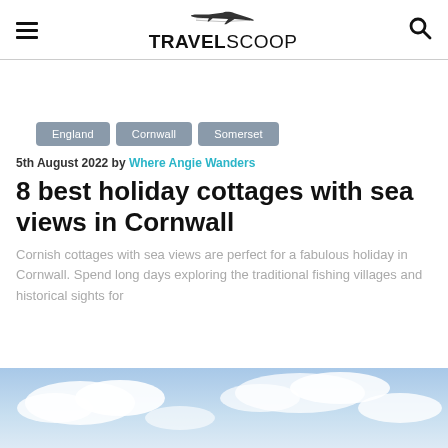TRAVELSCOOP
England
Cornwall
Somerset
5th August 2022 by Where Angie Wanders
8 best holiday cottages with sea views in Cornwall
Cornish cottages with sea views are perfect for a fabulous holiday in Cornwall. Spend long days exploring the traditional fishing villages and historical sights for
[Figure (photo): Sky with clouds, top portion of a coastal photo]